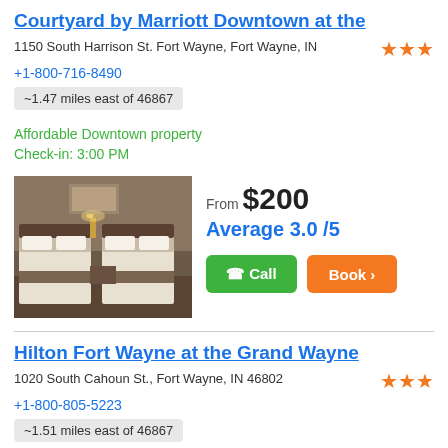Courtyard by Marriott Downtown at the
1150 South Harrison St. Fort Wayne, Fort Wayne, IN
+1-800-716-8490
~1.47 miles east of 46867
Affordable Downtown property
Check-in: 3:00 PM
[Figure (photo): Hotel room with two double beds, warm lighting, dark wood furniture]
From $200
Average 3.0 /5
Hilton Fort Wayne at the Grand Wayne
1020 South Cahoun St., Fort Wayne, IN 46802
+1-800-805-5223
~1.51 miles east of 46867
3-star Downtown hotel
Hotel has 246 rooms
Pleasant entrance area
Bathroom is relatively clean